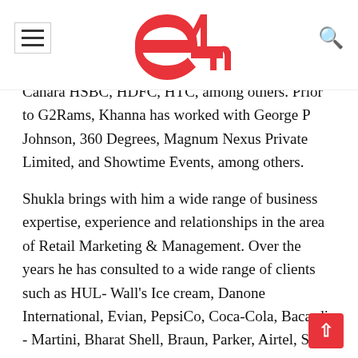e4m
Canara HSBC, HDFC, HTC, among others. Prior to G2Rams, Khanna has worked with George P Johnson, 360 Degrees, Magnum Nexus Private Limited, and Showtime Events, among others.
Shukla brings with him a wide range of business expertise, experience and relationships in the area of Retail Marketing & Management. Over the years he has consulted to a wide range of clients such as HUL- Wall's Ice cream, Danone International, Evian, PepsiCo, Coca-Cola, Bacardi - Martini, Bharat Shell, Braun, Parker, Airtel, Shaw Wallace, Samsung, LG – CDMA Phones and Barista Coffee Bars. Shukla had set up in 1996. Prior to this he has worked with Lintas, JWT, Gillette, Coca-Cola India...